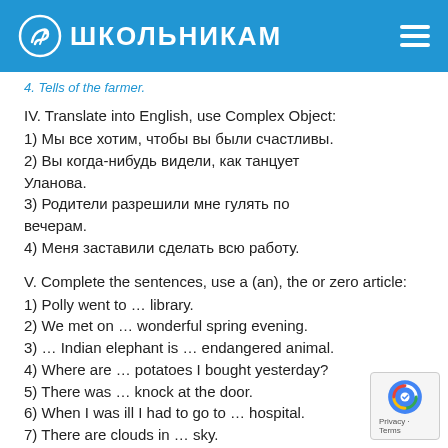ШКОЛЬНИКАМ
4. Tells of the farmer.
IV. Translate into English, use Complex Object:
1) Мы все хотим, чтобы вы были счастливы.
2) Вы когда-нибудь видели, как танцует Уланова.
3) Родители разрешили мне гулять по вечерам.
4) Меня заставили сделать всю работу.
V. Complete the sentences, use a (an), the or zero article:
1) Polly went to … library.
2) We met on … wonderful spring evening.
3) … Indian elephant is … endangered animal.
4) Where are … potatoes I bought yesterday?
5) There was … knock at the door.
6) When I was ill I had to go to … hospital.
7) There are clouds in … sky.